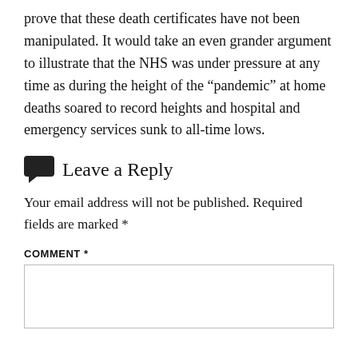prove that these death certificates have not been manipulated. It would take an even grander argument to illustrate that the NHS was under pressure at any time as during the height of the “pandemic” at home deaths soared to record heights and hospital and emergency services sunk to all-time lows.
Leave a Reply
Your email address will not be published. Required fields are marked *
COMMENT *